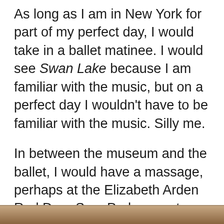As long as I am in New York for part of my perfect day, I would take in a ballet matinee. I would see Swan Lake because I am familiar with the music, but on a perfect day I wouldn't have to be familiar with the music. Silly me.
In between the museum and the ballet, I would have a massage, perhaps at the Elizabeth Arden Red Door Spa. Perhaps not.
I just learned when Covid struck, Red Door shuttered its doors and filed for bankruptcy. In its heyday, it was the place to go. There's probably another “it” place now I could go to.
[Figure (photo): Partial view of a photograph at the bottom of the page, showing warm brown tones.]